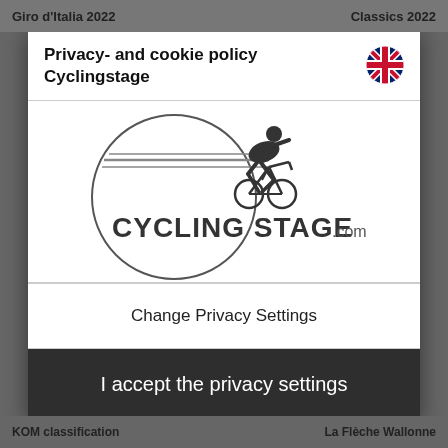Giro d'Italia 2022    Classics 2022
Privacy- and cookie policy Cyclingstage
[Figure (logo): Cycling Stage .com logo: a circle with a cyclist silhouette and horizontal speed lines, with CYCLING STAGE.com text]
Change Privacy Settings
I accept the privacy settings
KOM classification    La Flèche Wallonne